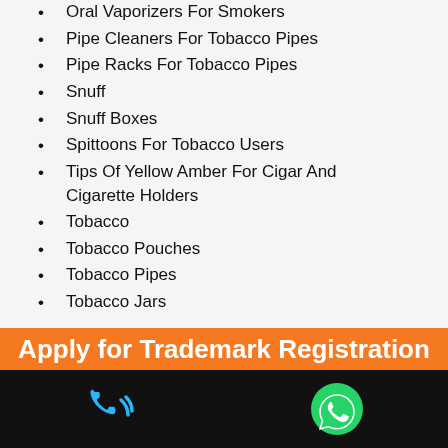Oral Vaporizers For Smokers
Pipe Cleaners For Tobacco Pipes
Pipe Racks For Tobacco Pipes
Snuff
Snuff Boxes
Spittoons For Tobacco Users
Tips Of Yellow Amber For Cigar And Cigarette Holders
Tobacco
Tobacco Pouches
Tobacco Pipes
Tobacco Jars
Trademark provides protection for both businesses and consumers by making them an important part of running a successful company. For Trademark registration, you can get expert advice and consult on the LegalDocs website.
[Figure (other): Orange banner with text 'Apply for Trademark Registration' and a black bottom bar with a phone call icon and a WhatsApp icon]